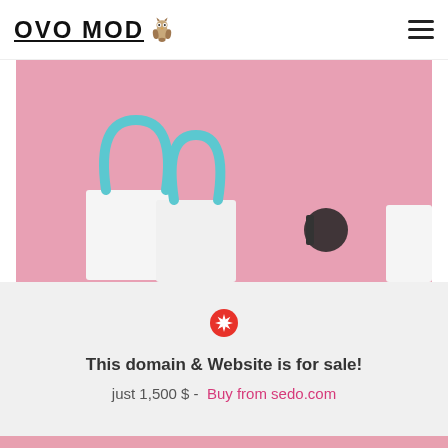OVO MOD
[Figure (photo): A pink-background photo showing white shopping bags with blue handles and what appears to be sunglasses or a black accessory on the right side.]
This domain & Website is for sale!
just 1,500 $ -  Buy from sedo.com